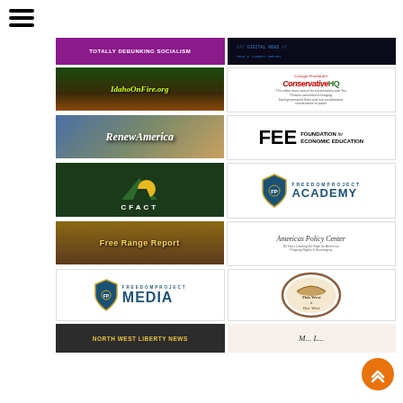[Figure (logo): Hamburger menu icon (three horizontal bars)]
[Figure (logo): Totally Debunking Socialism banner - purple background, white text]
[Figure (logo): Dark banner with digital/tech styling on right side]
[Figure (logo): IdahoOnFire.org logo - forest fire background, yellow-green text]
[Figure (logo): George Vreeland's ConservativeHQ logo - green and red text on white]
[Figure (logo): RenewAmerica logo - patriotic imagery with white italic text]
[Figure (logo): FEE Foundation for Economic Education logo - black text on white]
[Figure (logo): CFACT logo - dark green background with gold/yellow geometric shape]
[Figure (logo): FreedomProject Academy logo - blue shield emblem with text]
[Figure (logo): Free Range Report logo - wooden plank style with gold text]
[Figure (logo): Americas Policy Center logo - eagle emblem with cursive text]
[Figure (logo): FreedomProject Media logo - blue shield with MEDIA text]
[Figure (logo): This West is Our West logo - circular badge with cowboy hat]
[Figure (logo): North West Liberty News logo - dark background with gold text]
[Figure (logo): Partially visible logo at bottom right]
[Figure (other): Orange scroll-to-top button with double chevron up arrows]